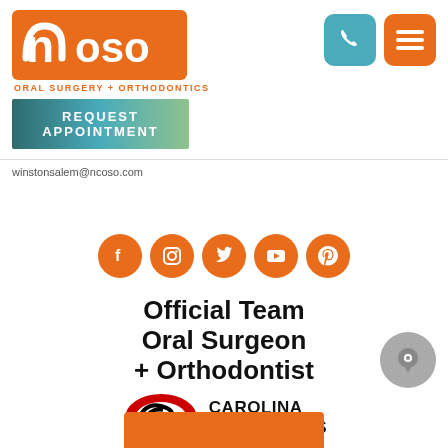[Figure (logo): NCOSO Oral Surgery + Orthodontics logo in orange and white, with phone and menu icon buttons in teal and orange]
[Figure (other): Request Appointment button with teal to green gradient]
winstonsalem@ncoso.com
[Figure (infographic): Row of 5 orange social media icon circles: Facebook, Instagram, Twitter, YouTube, Pinterest]
Official Team Oral Surgeon + Orthodontist
[Figure (logo): Carolina Hurricanes logo with text CAROLINA HURRICANES]
[Figure (other): Gray chat bubble icon button at bottom right]